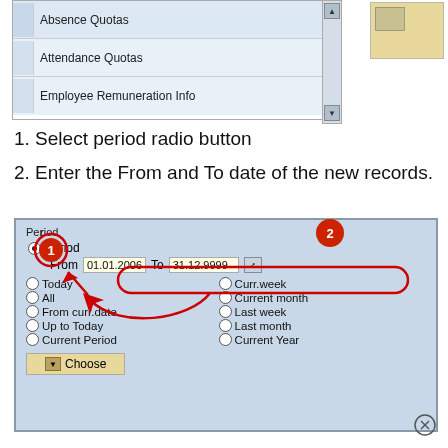[Figure (screenshot): SAP-style list box showing Absence Quotas, Attendance Quotas, Employee Remuneration Info rows with scrollbar, and a small icon box at top right]
1. Select period radio button
2. Enter the From and To date of the new records.
[Figure (screenshot): SAP period selection dialog with Period radio button selected, From date 01.01.2006 To 31.12.9999, and other radio options: Today, Curr.week, All, Current month, From curr.date, Last week, Up to Today, Last month, Current Period, Current Year, and a Choose button. Annotated with red circles numbered 1 and 2, and a red oval around the date fields with an arrow.]